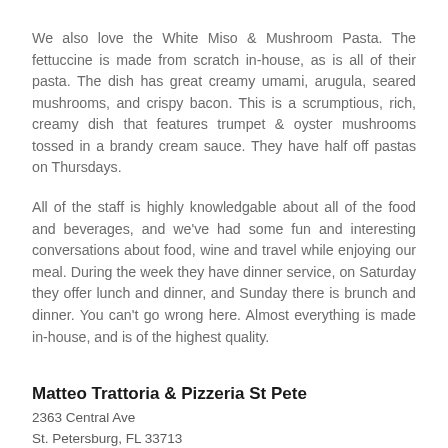We also love the White Miso & Mushroom Pasta. The fettuccine is made from scratch in-house, as is all of their pasta. The dish has great creamy umami, arugula, seared mushrooms, and crispy bacon. This is a scrumptious, rich, creamy dish that features trumpet & oyster mushrooms tossed in a brandy cream sauce. They have half off pastas on Thursdays.
All of the staff is highly knowledgable about all of the food and beverages, and we've had some fun and interesting conversations about food, wine and travel while enjoying our meal. During the week they have dinner service, on Saturday they offer lunch and dinner, and Sunday there is brunch and dinner. You can't go wrong here. Almost everything is made in-house, and is of the highest quality.
Matteo Trattoria & Pizzeria St Pete
2363 Central Ave
St. Petersburg, FL 33713
(727) 851-9114